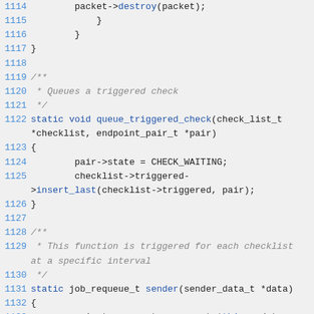[Figure (screenshot): Source code listing in C, lines 1114-1134, showing functions queue_triggered_check and sender with syntax highlighting. Line numbers in blue on left, keywords and function names in blue, comments in gray italic, regular code in dark/black.]